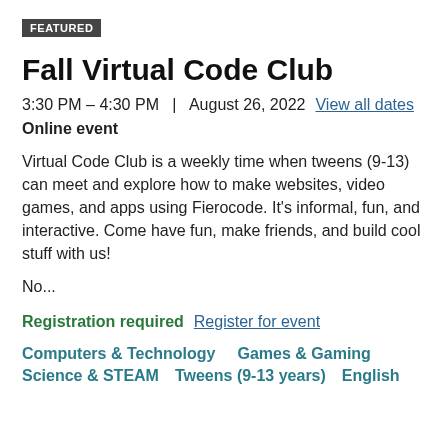FEATURED
Fall Virtual Code Club
3:30 PM – 4:30 PM  |  August 26, 2022  View all dates
Online event
Virtual Code Club is a weekly time when tweens (9-13) can meet and explore how to make websites, video games, and apps using Fierocode. It's informal, fun, and interactive. Come have fun, make friends, and build cool stuff with us!
No...
Registration required  Register for event
Computers & Technology
Games & Gaming
Science & STEAM
Tweens (9-13 years)
English